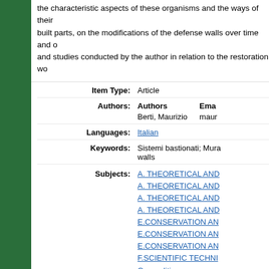the characteristic aspects of these organisms and the ways of their built parts, on the modifications of the defense walls over time and and studies conducted by the author in relation to the restoration wo
| Item Type: | Article |
| Authors: | Authors | Email
Berti, Maurizio | maur |
| Languages: | Italian |
| Keywords: | Sistemi bastionati; Mura walls |
| Subjects: | A. THEORETICAL AND
A. THEORETICAL AND
A. THEORETICAL AND
A. THEORETICAL AND
E.CONSERVATION AN
E.CONSERVATION AN
E.CONSERVATION AN
F.SCIENTIFIC TECHNI
Generalities |
| Name of monument, town, site, museum: | Padua, Italy |
| Number: | 2 |
| ISSN: | 1121-2373 |